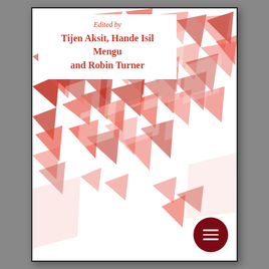[Figure (illustration): Abstract geometric art with red and white sharp triangular/polygonal shapes scattered across the cover, creating a dynamic crystalline effect. Red fragments on white background with varying opacity and sizes.]
Edited by
Tijen Aksit, Hande Isil Mengu and Robin Turner